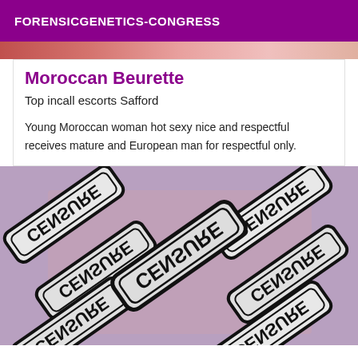FORENSICGENETICS-CONGRESS
[Figure (photo): Partial top image strip showing blurred colorful background]
Moroccan Beurette
Top incall escorts Safford
Young Moroccan woman hot sexy nice and respectful receives mature and European man for respectful only.
[Figure (photo): Image covered with multiple overlapping CENSURE stamp labels in black and white, arranged at various angles over a pink/flesh-toned background]